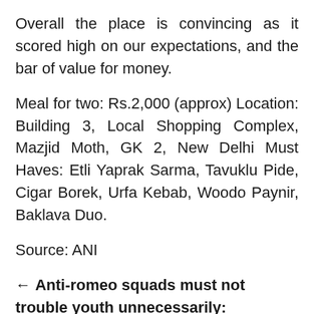Overall the place is convincing as it scored high on our expectations, and the bar of value for money.
Meal for two: Rs.2,000 (approx) Location: Building 3, Local Shopping Complex, Mazjid Moth, GK 2, New Delhi Must Haves: Etli Yaprak Sarma, Tavuklu Pide, Cigar Borek, Urfa Kebab, Woodo Paynir, Baklava Duo.
Source: ANI
← Anti-romeo squads must not trouble youth unnecessarily: Adityanath
B'desh: Two killed in blast